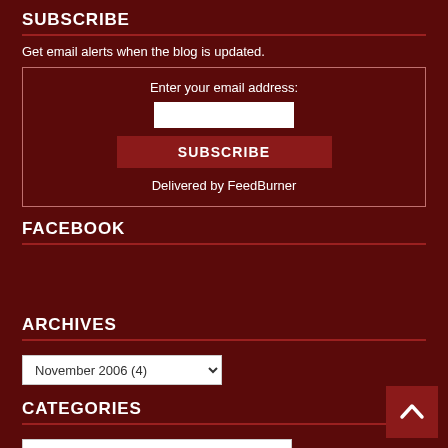SUBSCRIBE
Get email alerts when the blog is updated.
Enter your email address:
[email input]
[SUBSCRIBE button]
Delivered by FeedBurner
FACEBOOK
ARCHIVES
November 2006  (4)
CATEGORIES
Select Category